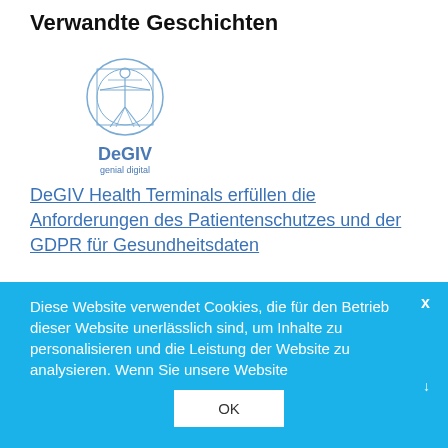Verwandte Geschichten
[Figure (logo): DeGIV logo with Vitruvian man figure in blue circle, text 'DeGIV genial digital']
DeGIV Health Terminals erfüllen die Anforderungen des Patientenschutzes und der GDPR für Gesundheitsdaten
[Figure (logo): FloorBotics logo with globe/grid sphere, italic bold text 'FloorBotics']
Diese Website verwendet Cookies, die für den Betrieb dieser Website unerlässlich sind, um Inhalte zu personalisieren und die Leistung der Website zu analysieren. Wenn Sie unsere Website
OK